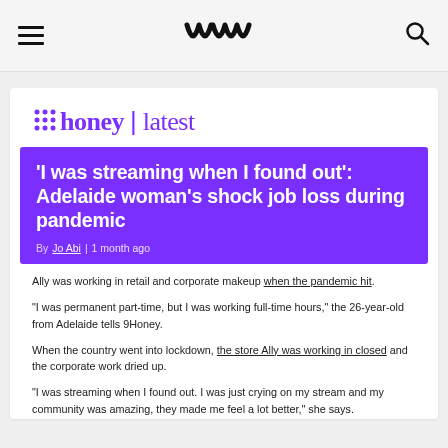9Honey navigation bar with hamburger menu, logo (wu), and search icon
[Figure (logo): 9Honey | latest logo in purple with dot-grid icon]
'I was streaming when I found out': Adelaide woman's shock job loss during pandemic
By Jo Abi | 1 month ago
Ally was working in retail and corporate makeup when the pandemic hit.
"I was permanent part-time, but I was working full-time hours," the 26-year-old from Adelaide tells 9Honey.
When the country went into lockdown, the store Ally was working in closed and the corporate work dried up.
"I was streaming when I found out. I was just crying on my stream and my community was amazing, they made me feel a lot better," she says.